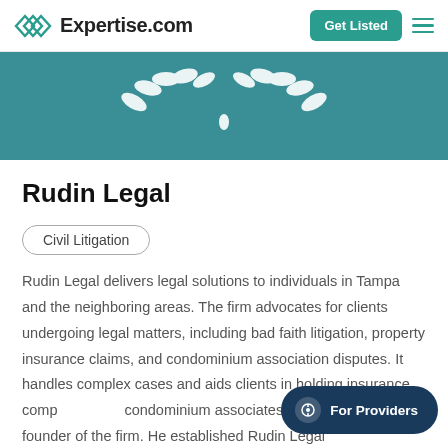Expertise.com | Get Listed
[Figure (illustration): Teal banner with a decorative white laurel wreath graphic at the top of the listing page]
Rudin Legal
Civil Litigation
Rudin Legal delivers legal solutions to individuals in Tampa and the neighboring areas. The firm advocates for clients undergoing legal matters, including bad faith litigation, property insurance claims, and condominium association disputes. It handles complex cases and aids clients in holding insurance companies and condominium associates accountable. the founder of the firm. He established Rudin Legal